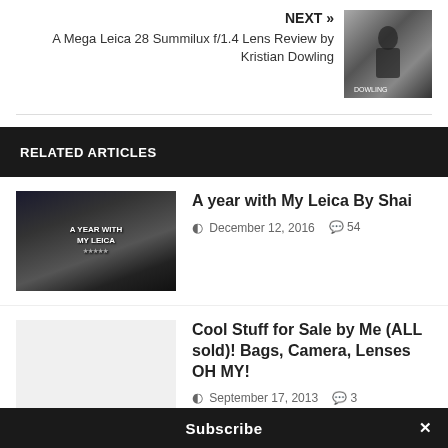NEXT » A Mega Leica 28 Summilux f/1.4 Lens Review by Kristian Dowling
RELATED ARTICLES
A year with My Leica By Shai — December 12, 2016 — 54 comments
Cool Stuff for Sale by Me (ALL sold)! Bags, Camera, Lenses OH MY! — September 17, 2013 — 3 comments
Shooting Portraits with a Leica M10 B...
Subscribe